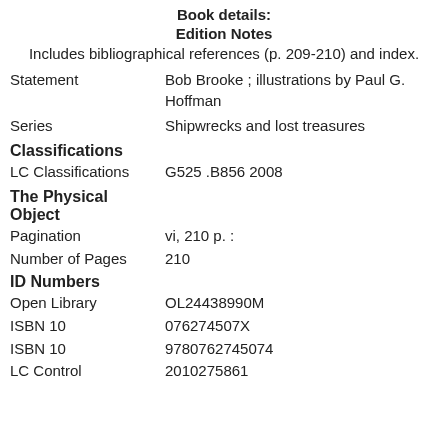Book details:
Edition Notes
Includes bibliographical references (p. 209-210) and index.
Statement: Bob Brooke ; illustrations by Paul G. Hoffman
Series: Shipwrecks and lost treasures
Classifications
LC Classifications: G525 .B856 2008
The Physical Object
Pagination: vi, 210 p. :
Number of Pages: 210
ID Numbers
Open Library: OL24438990M
ISBN 10: 076274507X
ISBN 10: 9780762745074
LC Control: 2010275861